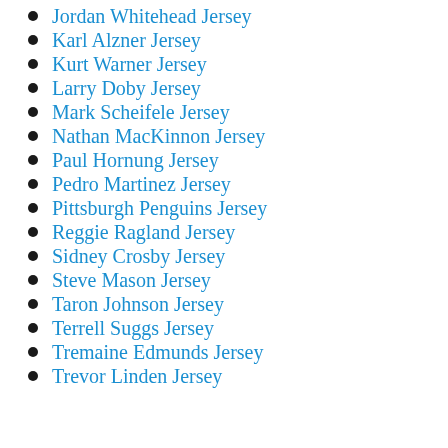Jordan Whitehead Jersey
Karl Alzner Jersey
Kurt Warner Jersey
Larry Doby Jersey
Mark Scheifele Jersey
Nathan MacKinnon Jersey
Paul Hornung Jersey
Pedro Martinez Jersey
Pittsburgh Penguins Jersey
Reggie Ragland Jersey
Sidney Crosby Jersey
Steve Mason Jersey
Taron Johnson Jersey
Terrell Suggs Jersey
Tremaine Edmunds Jersey
Trevor Linden Jersey